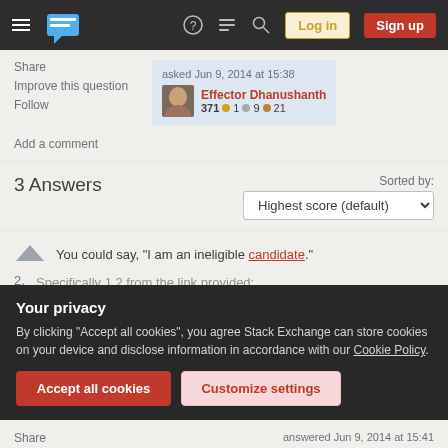Stack Exchange navigation bar with hamburger menu, logo, help, chat, search icons, Log in and Sign up buttons
Share
Improve this question
Follow
asked Jun 9, 2014 at 15:38
Effector Dhanushanth
371 ●1  ●9  ●21
Add a comment
3 Answers
Sorted by: Highest score (default)
You could say, "I am an ineligible candidate."
Specifically 1.2 from the link provided:
Your privacy
By clicking "Accept all cookies", you agree Stack Exchange can store cookies on your device and disclose information in accordance with our Cookie Policy.
Accept all cookies
Customize settings
Share